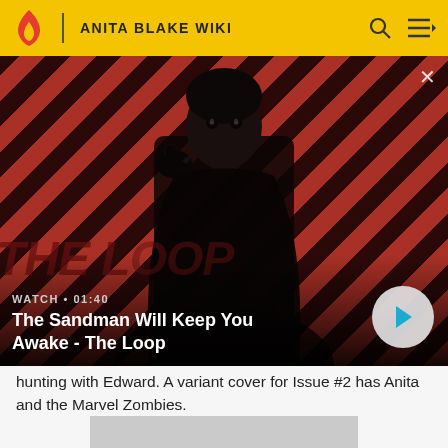ANITA BLAKE WIKI
[Figure (screenshot): Video thumbnail showing a man in dark clothing with a crow on his shoulder against a red diagonal-striped background. Title overlay reads 'The Sandman Will Keep You Awake - The Loop'. Watch duration shown as 01:40. Play button visible.]
hunting with Edward. A variant cover for Issue #2 has Anita and the Marvel Zombies.
[Figure (photo): Gray placeholder image area at bottom of page.]